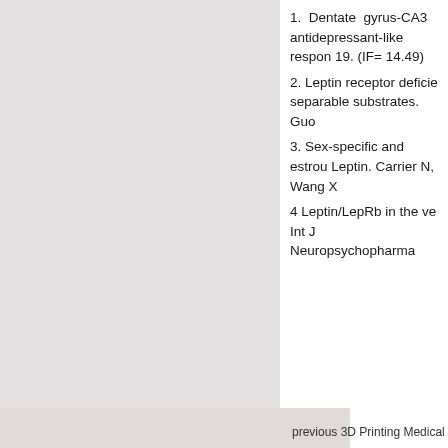1. Dentate gyrus-CA3 antidepressant-like respon… 19. (IF= 14.49)
2. Leptin receptor deficie… separable substrates. Guo…
3. Sex-specific and estrou… Leptin. Carrier N, Wang X…
4 Leptin/LepRb in the ve… Int J Neuropsychopharma…
previous 3D Printing Medical